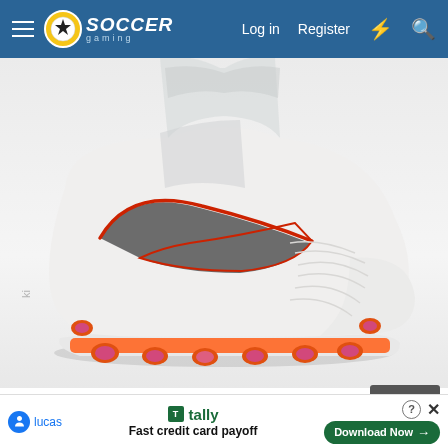Soccer Gaming — Log in  Register
[Figure (photo): White Nike Magista soccer cleat with red swoosh outline and red/orange studs on a white background]
Hi nick please add the magista boot :Carlos*o:
[Figure (screenshot): Advertisement bar: Tally — Fast credit card payoff. Download Now button. User avatar 'lucas'. Help and close icons.]